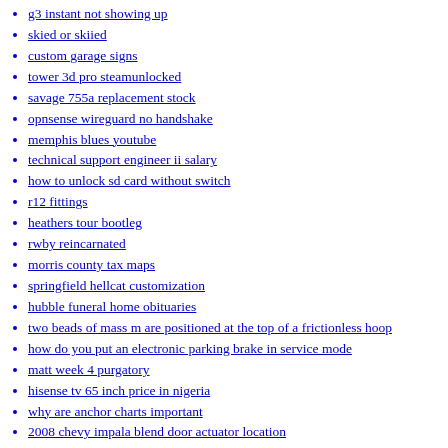g3 instant not showing up
skied or skiied
custom garage signs
tower 3d pro steamunlocked
savage 755a replacement stock
opnsense wireguard no handshake
memphis blues youtube
technical support engineer ii salary
how to unlock sd card without switch
r12 fittings
heathers tour bootleg
rwby reincarnated
morris county tax maps
springfield hellcat customization
hubble funeral home obituaries
two beads of mass m are positioned at the top of a frictionless hoop
how do you put an electronic parking brake in service mode
matt week 4 purgatory
hisense tv 65 inch price in nigeria
why are anchor charts important
2008 chevy impala blend door actuator location
wax globe pen
best airbnb branson
craigslist bellwood il apts